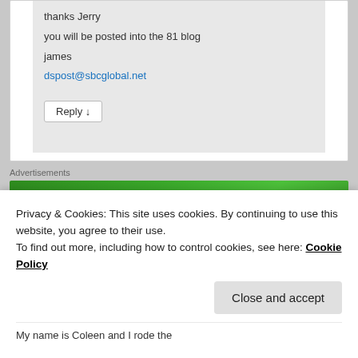thanks Jerry
you will be posted into the 81 blog
james
dspost@sbcglobal.net
Reply ↓
Advertisements
[Figure (screenshot): Jetpack advertisement banner with green background showing Jetpack logo and 'Back up your site' call-to-action button]
REPORT THIS AD
Privacy & Cookies: This site uses cookies. By continuing to use this website, you agree to their use.
To find out more, including how to control cookies, see here: Cookie Policy
Close and accept
My name is Coleen and I rode the